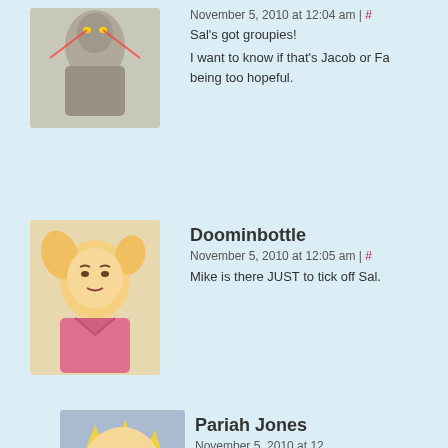[Figure (illustration): Avatar of a statue-like figure with glowing eyes]
November 5, 2010 at 12:04 am | #
Sal's got groupies!
I want to know if that's Jacob or Fa being too hopeful.
[Figure (illustration): Avatar of a blonde anime-style girl looking concerned]
Doominbottle
November 5, 2010 at 12:05 am | #
Mike is there JUST to tick off Sal.
[Figure (illustration): Avatar of a blonde spiky-haired young man looking stern]
Pariah Jones
November 5, 2010 at 12...
I think if Mike really w... forced either Joyce ar... whichever seat they p...
[Figure (illustration): Avatar of a blonde smiling young man]
dethtoll
November 5, 2010 a...
figures you have a...